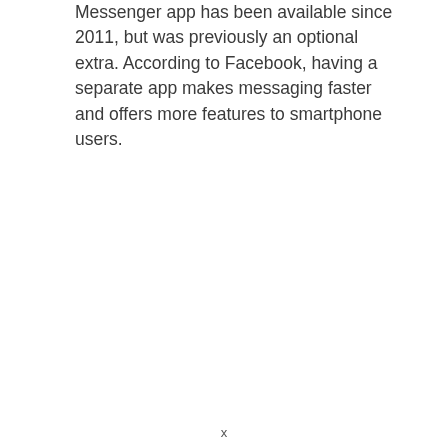Messenger app has been available since 2011, but was previously an optional extra. According to Facebook, having a separate app makes messaging faster and offers more features to smartphone users.
x